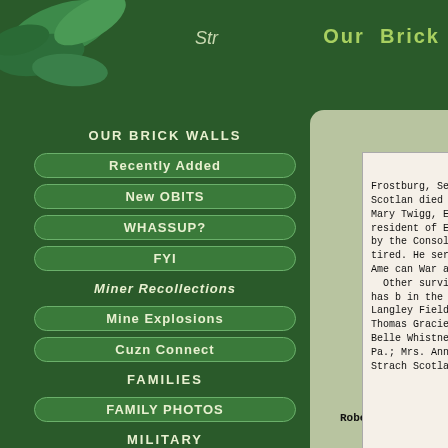Str     Our Brick
OUR BRICK WALLS
Recently Added
New OBITS
WHASSUP?
FYI
Miner Recollections
Mine Explosions
Cuzn Connect
FAMILIES
FAMILY PHOTOS
MILITARY
VITALS
[Figure (photo): Newspaper obituary clipping for Robert L. Strachan. Text reads: Frostburg, Sept. 6 — Robert Strachan, 69, native of Scotland, died yesterday at the home of his daughter, Mrs. Mary Twigg, Eckhart, following a paralytic stroke. A resident of Eckhart for the past 35 years, he had been employed by the Consolidation Coal Company until recently, when he retired. He served with the United States Army in the Spanish-American War and was a member of Veterans of Foreign Wars. Other survivors include Robert Strachan, Jr., a son, who has been in the Army for eight years and is now stationed at Langley Field, Va.; three step-children, Mrs. Jeanne Kidwell, Thomas Gracie and M. Anne Grader, Eckhart; four sisters, Mrs. Belle Whistner, Morgantown W. Va.; Mrs. Sarah Moore, Boston Pa.; Mrs. Annie McNearney, Cumberland, and Miss Mary Strack Scotland.]
Robert L. Strachan